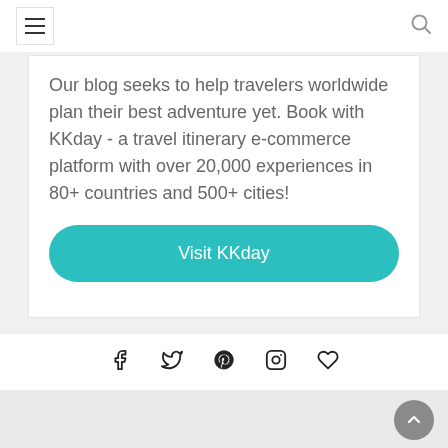Navigation header with hamburger menu and search icon
Our blog seeks to help travelers worldwide plan their best adventure yet. Book with KKday - a travel itinerary e-commerce platform with over 20,000 experiences in 80+ countries and 500+ cities!
Visit KKday
Social icons: Facebook, Twitter, Pinterest, Instagram, Heart